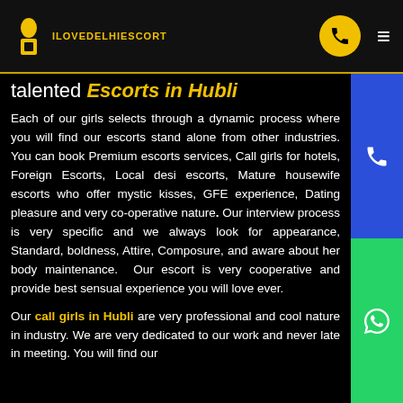ILOVEDELHIESCORT
talented Escorts in Hubli
Each of our girls selects through a dynamic process where you will find our escorts stand alone from other industries. You can book Premium escorts services, Call girls for hotels, Foreign Escorts, Local desi escorts, Mature housewife escorts who offer mystic kisses, GFE experience, Dating pleasure and very co-operative nature. Our interview process is very specific and we always look for appearance, Standard, boldness, Attire, Composure, and aware about her body maintenance. Our escort is very cooperative and provide best sensual experience you will love ever.
Our call girls in Hubli are very professional and cool nature in industry. We are very dedicated to our work and never late in meeting. You will find our